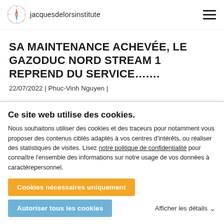jacquesdelorsinstitute
SA MAINTENANCE ACHEVÉE, LE GAZODUC NORD STREAM 1 REPREND DU SERVICE….…
22/07/2022 | Phuc-Vinh Nguyen |
Ce site web utilise des cookies.
Nous souhaitons utiliser des cookies et des traceurs pour notamment vous proposer des contenus ciblés adaptés à vos centres d'intérêts, ou réaliser des statistiques de visites. Lisez notre politique de confidentialité pour connaître l'ensemble des informations sur notre usage de vos données à caractèrepersonnel.
Cookies nécessaires uniquement
Autoriser tous les cookies
Afficher les détails